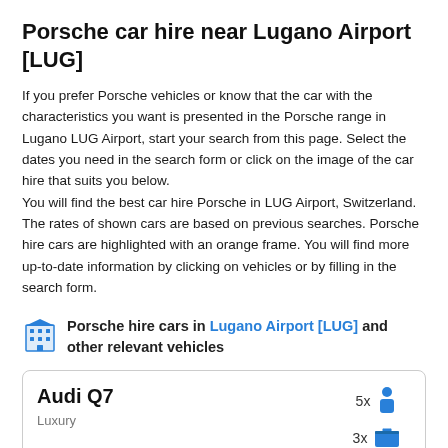Porsche car hire near Lugano Airport [LUG]
If you prefer Porsche vehicles or know that the car with the characteristics you want is presented in the Porsche range in Lugano LUG Airport, start your search from this page. Select the dates you need in the search form or click on the image of the car hire that suits you below.
You will find the best car hire Porsche in LUG Airport, Switzerland. The rates of shown cars are based on previous searches. Porsche hire cars are highlighted with an orange frame. You will find more up-to-date information by clicking on vehicles or by filling in the search form.
Porsche hire cars in Lugano Airport [LUG] and other relevant vehicles
Audi Q7
Luxury
5x [person icon]
3x [luggage icon]